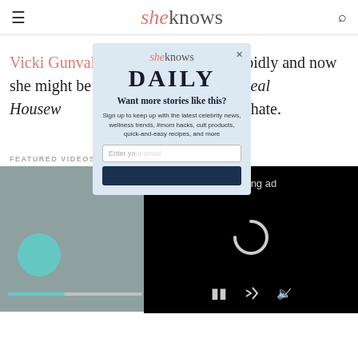sheknows
Vicki Gunvalson's life is changing rapidly and now she might be making a move that The Real Housewives fans will either love or hate.
FEATURED VIDEOS
[Figure (screenshot): Video thumbnail with teal circular shape and progress bar on grey background]
[Figure (screenshot): Newsletter signup popup modal for SheKnows Daily with fields for email and subscribe button, overlapping article content]
[Figure (screenshot): Video ad loading overlay with black background showing Loading ad text, spinner, and playback controls]